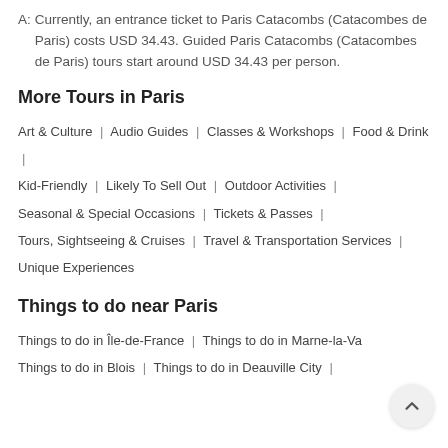A: Currently, an entrance ticket to Paris Catacombs (Catacombes de Paris) costs USD 34.43. Guided Paris Catacombs (Catacombes de Paris) tours start around USD 34.43 per person.
More Tours in Paris
Art & Culture | Audio Guides | Classes & Workshops | Food & Drink | Kid-Friendly | Likely To Sell Out | Outdoor Activities | Seasonal & Special Occasions | Tickets & Passes | Tours, Sightseeing & Cruises | Travel & Transportation Services | Unique Experiences
Things to do near Paris
Things to do in Île-de-France | Things to do in Marne-la-Va… | Things to do in Blois | Things to do in Deauville City |